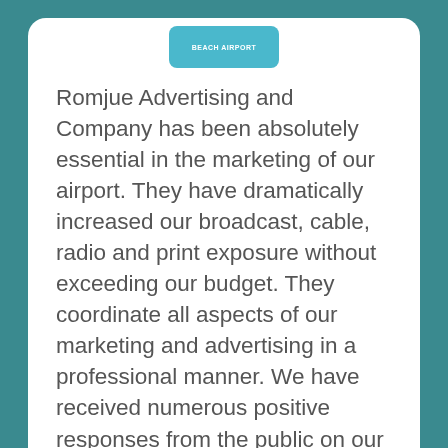[Figure (logo): Beach Airport logo - blue rounded rectangle with white text]
Romjue Advertising and Company has been absolutely essential in the marketing of our airport. They have dramatically increased our broadcast, cable, radio and print exposure without exceeding our budget. They coordinate all aspects of our marketing and advertising in a professional manner. We have received numerous positive responses from the public on our creative ads. In addition, they have saved us countless man hours by meeting and negotiating